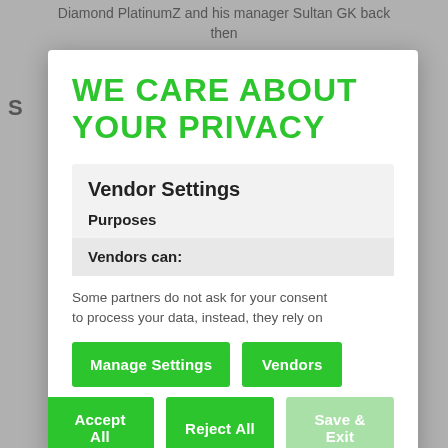Diamond PlatinumZ and his manager Sultan GK back then
S
WE CARE ABOUT YOUR PRIVACY
Vendor Settings
Purposes
Vendors can:
Some partners do not ask for your consent to process your data, instead, they rely on
Manage Settings
Vendors
Accept All
Reject All
Save & Exit